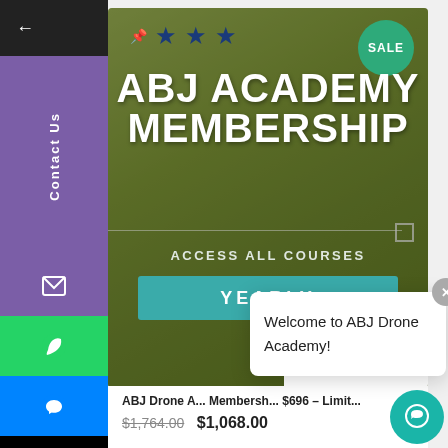[Figure (screenshot): ABJ Academy Membership promotional card with dark olive/green background, three blue stars, SALE badge in teal, bold white text 'ABJ ACADEMY MEMBERSHIP', 'ACCESS ALL COURSES', teal YEARLY button, and ABJ logo at bottom]
ABJ Drone A... Membersh... $696 – Limit...
Welcome to ABJ Drone Academy!
$1,764.00  $1,068.00